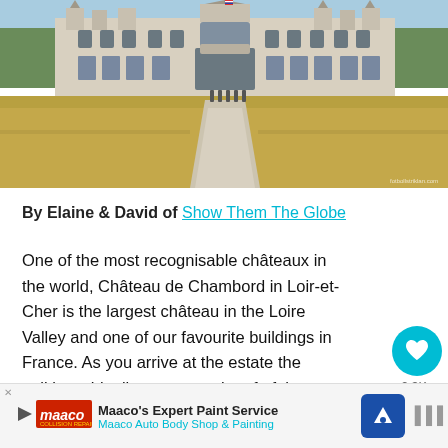[Figure (photo): Château de Chambord exterior view, showing the large Renaissance-style château at the end of a straight gravel path, with golden dry grass on either side and blue sky above.]
By Elaine & David of Show Them The Globe
One of the most recognisable châteaux in the world, Château de Chambord in Loir-et-Cher is the largest château in the Loire Valley and one of our favourite buildings in France. As you arrive at the estate the striking white limestone and roof of the Renaissance style château reflects across the water which surrounds the rear of the pa…
Maaco's Expert Paint Service
Maaco Auto Body Shop & Painting